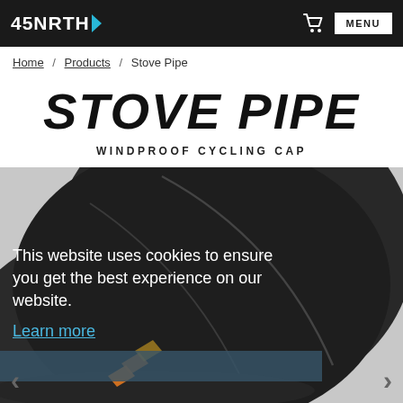45NRTH — MENU
Home / Products / Stove Pipe
STOVE PIPE
WINDPROOF CYCLING CAP
[Figure (photo): Close-up photo of a black windproof cycling cap (Stove Pipe) with visible seams and an orange/yellow chevron logo detail near the brim, shown against a light gray background.]
This website uses cookies to ensure you get the best experience on our website.
Learn more